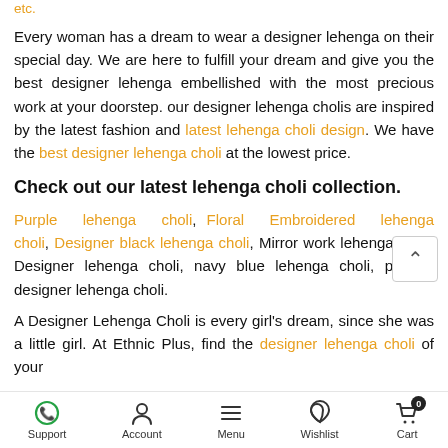etc.
Every woman has a dream to wear a designer lehenga on their special day. We are here to fulfill your dream and give you the best designer lehenga embellished with the most precious work at your doorstep. our designer lehenga cholis are inspired by the latest fashion and latest lehenga choli design. We have the best designer lehenga choli at the lowest price.
Check out our latest lehenga choli collection.
Purple lehenga choli, Floral Embroidered lehenga choli, Designer black lehenga choli, Mirror work lehenga choli, Designer lehenga choli, navy blue lehenga choli, peplum designer lehenga choli.
A Designer Lehenga Choli is every girl's dream, since she was a little girl. At Ethnic Plus, find the designer lehenga choli of your
Support  Account  Menu  Wishlist  Cart